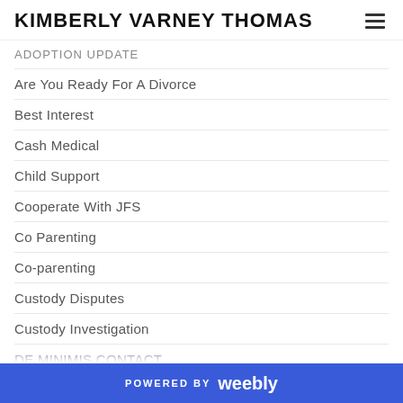KIMBERLY VARNEY THOMAS
ADOPTION UPDATE
Are You Ready For A Divorce
Best Interest
Cash Medical
Child Support
Cooperate With JFS
Co Parenting
Co-parenting
Custody Disputes
Custody Investigation
DE MINIMIS CONTACT
Denying Parenting Time
Divorce
Domestic Violence
POWERED BY weebly